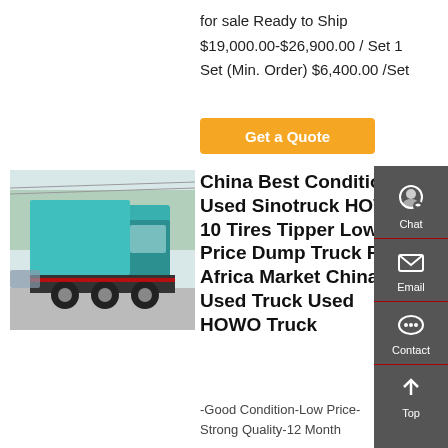for sale Ready to Ship $19,000.00-$26,900.00 / Set 1 Set (Min. Order) $6,400.00 /Set
Get a Quote
[Figure (photo): Rear view of a teal/turquoise HOWO dump truck on a road]
China Best Condition Used Sinotruck HOWO 10 Tires Tipper Low Price Dump Truck For Africa Market China Used Truck Used HOWO Truck
-Good Condition-Low Price-
Strong Quality-12 Month